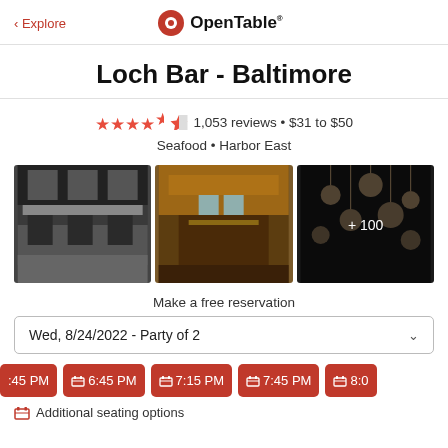< Explore   OpenTable
Loch Bar - Baltimore
★★★★½  1,053 reviews • $31 to $50
Seafood • Harbor East
[Figure (photo): Three restaurant photos: black-and-white dining room, warm-lit bar interior, and dark decorative lights with +100 overlay]
Make a free reservation
Wed, 8/24/2022 - Party of 2
:45 PM   6:45 PM   7:15 PM   7:45 PM   8:0
Additional seating options